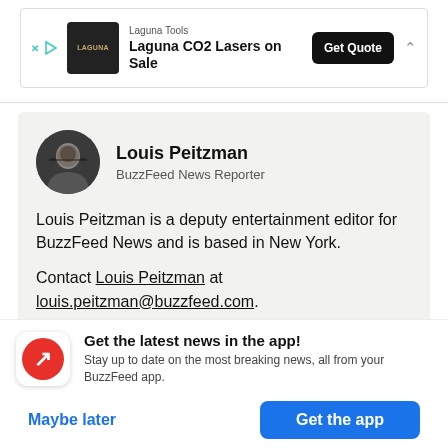[Figure (other): Advertisement banner for Laguna Tools showing logo, text 'Laguna CO2 Lasers on Sale' with 'Get Quote' button]
Louis Peitzman
BuzzFeed News Reporter
Louis Peitzman is a deputy entertainment editor for BuzzFeed News and is based in New York.
Contact Louis Peitzman at louis.peitzman@buzzfeed.com.
Get the latest news in the app!
Stay up to date on the most breaking news, all from your BuzzFeed app.
Maybe later
Get the app